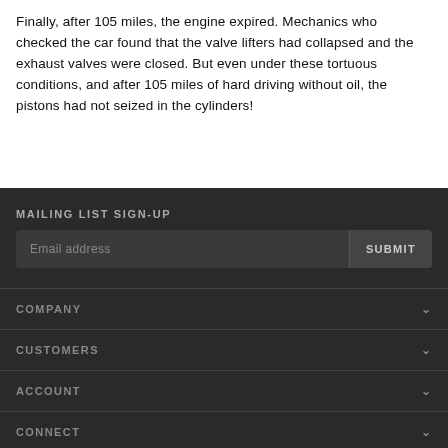Finally, after 105 miles, the engine expired. Mechanics who checked the car found that the valve lifters had collapsed and the exhaust valves were closed. But even under these tortuous conditions, and after 105 miles of hard driving without oil, the pistons had not seized in the cylinders!
MAILING LIST SIGN-UP
Email address  SUBMIT
COMPANY
CUSTOMERS
ACCOUNT
CONNECT